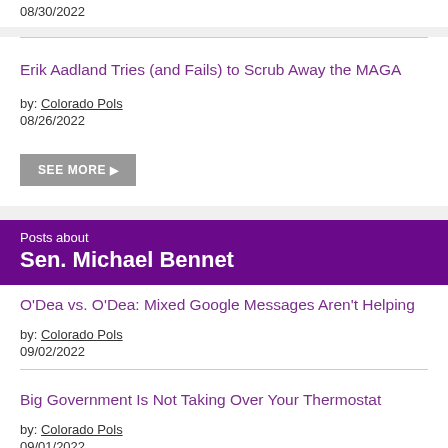08/30/2022
Erik Aadland Tries (and Fails) to Scrub Away the MAGA
by: Colorado Pols
08/26/2022
Posts about Sen. Michael Bennet
O'Dea vs. O'Dea: Mixed Google Messages Aren't Helping
by: Colorado Pols
09/02/2022
Big Government Is Not Taking Over Your Thermostat
by: Colorado Pols
09/01/2022
The Death of Nuance on Abortion Rights
by: Colorado Pols